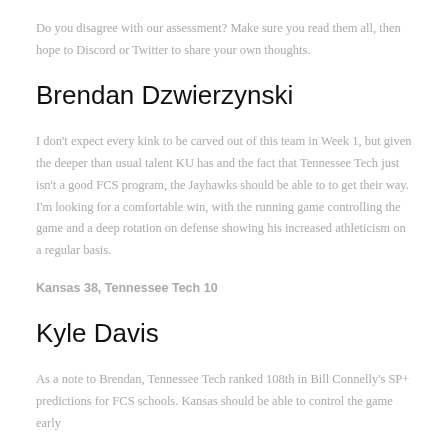Do you disagree with our assessment? Make sure you read them all, then hope to Discord or Twitter to share your own thoughts.
Brendan Dzwierzynski
I don't expect every kink to be carved out of this team in Week 1, but given the deeper than usual talent KU has and the fact that Tennessee Tech just isn't a good FCS program, the Jayhawks should be able to to get their way. I'm looking for a comfortable win, with the running game controlling the game and a deep rotation on defense showing his increased athleticism on a regular basis.
Kansas 38, Tennessee Tech 10
Kyle Davis
As a note to Brendan, Tennessee Tech ranked 108th in Bill Connelly's SP+ predictions for FCS schools. Kansas should be able to control the game early